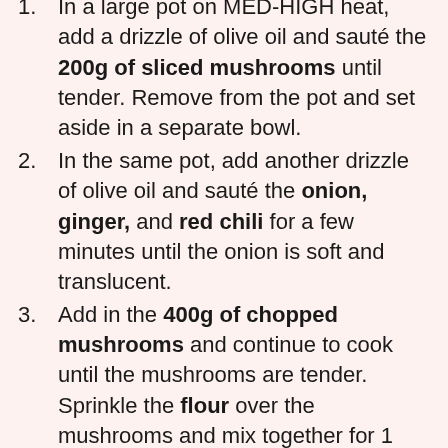1. In a large pot on MED-HIGH heat, add a drizzle of olive oil and sauté the 200g of sliced mushrooms until tender. Remove from the pot and set aside in a separate bowl.
2. In the same pot, add another drizzle of olive oil and sauté the onion, ginger, and red chili for a few minutes until the onion is soft and translucent.
3. Add in the 400g of chopped mushrooms and continue to cook until the mushrooms are tender. Sprinkle the flour over the mushrooms and mix together for 1 minute until all the liquid is absorbed.
4. Pour in a few splashes of beef stock and